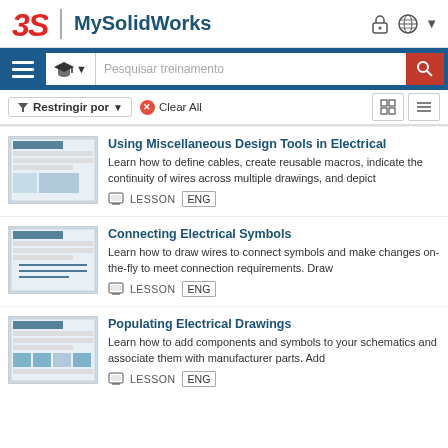MySolidWorks
Pesquisar treinamento
▼ Restringir por ▼   ✕ Clear All
Using Miscellaneous Design Tools in Electrical
Learn how to define cables, create reusable macros, indicate the continuity of wires across multiple drawings, and depict
LESSON  ENG
Connecting Electrical Symbols
Learn how to draw wires to connect symbols and make changes on-the-fly to meet connection requirements. Draw
LESSON  ENG
Populating Electrical Drawings
Learn how to add components and symbols to your schematics and associate them with manufacturer parts. Add
LESSON  ENG